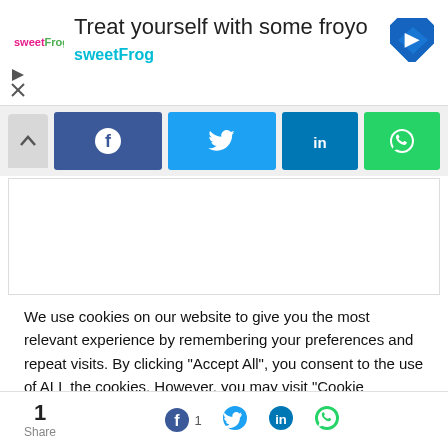[Figure (screenshot): sweetFrog ad banner with logo, 'Treat yourself with some froyo' title, 'sweetFrog' subtitle in cyan, and a blue navigation arrow diamond icon]
[Figure (screenshot): Social share bar with Facebook, Twitter, LinkedIn, and WhatsApp buttons]
We use cookies on our website to give you the most relevant experience by remembering your preferences and repeat visits. By clicking "Accept All", you consent to the use of ALL the cookies. However, you may visit "Cookie Settings" to provide a controlled consent.
[Figure (screenshot): Bottom share bar with share count of 1 and Facebook, Twitter, LinkedIn, WhatsApp icons]